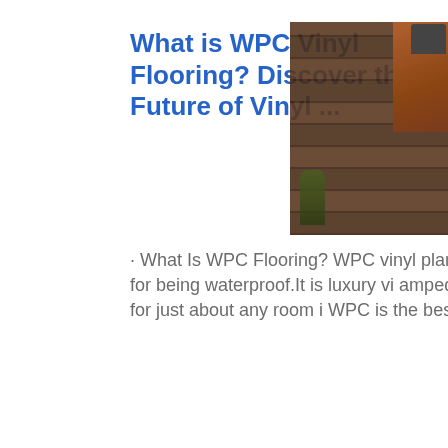What is WPC Vinyl Flooring? Discover the Future of Vinyl ...
[Figure (photo): Photo of dark wood vinyl plank flooring installed in a room, with a dark wooden door visible on the right edge and a dark sofa in the upper right corner.]
· What Is WPC Flooring? WPC vinyl plank flooring and WPC vinyl tile flooring are best known for being waterproof.It is luxury vi amped up a notch with a special waterpro makes it perfect for just about any room i WPC is the best of the best in the vinyl flo
Get price